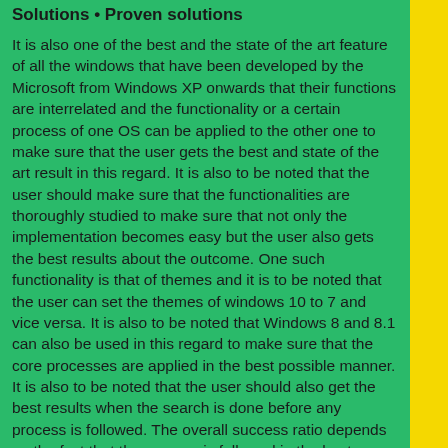Solutions • Proven solutions
It is also one of the best and the state of the art feature of all the windows that have been developed by the Microsoft from Windows XP onwards that their functions are interrelated and the functionality or a certain process of one OS can be applied to the other one to make sure that the user gets the best and state of the art result in this regard. It is also to be noted that the user should make sure that the functionalities are thoroughly studied to make sure that not only the implementation becomes easy but the user also gets the best results about the outcome. One such functionality is that of themes and it is to be noted that the user can set the themes of windows 10 to 7 and vice versa. It is also to be noted that Windows 8 and 8.1 can also be used in this regard to make sure that the core processes are applied in the best possible manner. It is also to be noted that the user should also get the best results when the search is done before any process is followed. The overall success ratio depends on the fact that the process is followed in the best possible manner and the user gets the best results to make sure that the confidence within the OS is ever